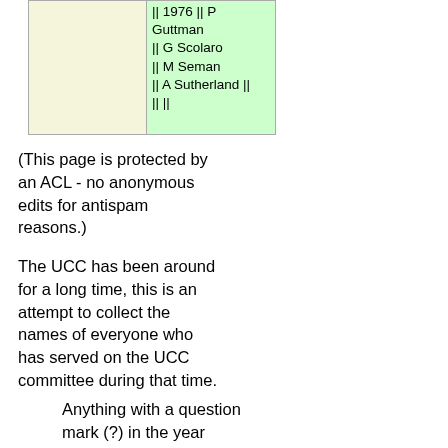|  | || 1976 || P Guttman || G Scolaro || M Seman || A Sutherland || || || |
(This page is protected by an ACL - no anonymous edits for antispam reasons.)
The UCC has been around for a long time, this is an attempt to collect the names of everyone who has served on the UCC committee during that time.
Anything with a question mark (?) in the year